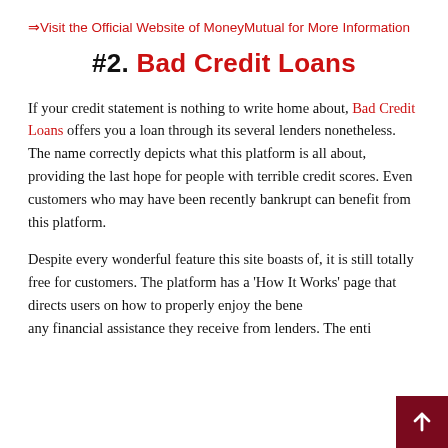⇒Visit the Official Website of MoneyMutual for More Information
#2. Bad Credit Loans
If your credit statement is nothing to write home about, Bad Credit Loans offers you a loan through its several lenders nonetheless. The name correctly depicts what this platform is all about, providing the last hope for people with terrible credit scores. Even customers who may have been recently bankrupt can benefit from this platform.
Despite every wonderful feature this site boasts of, it is still totally free for customers. The platform has a 'How It Works' page that directs users on how to properly enjoy the benefits of any financial assistance they receive from lenders. The enti